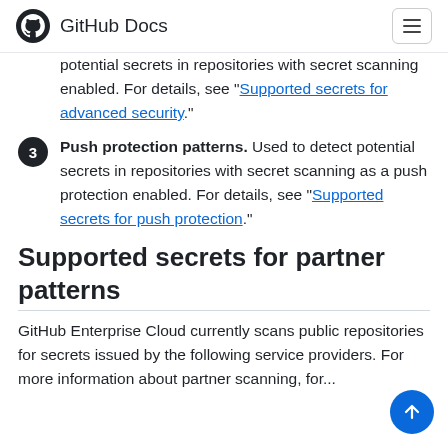GitHub Docs
potential secrets in repositories with secret scanning enabled. For details, see "Supported secrets for advanced security."
3. Push protection patterns. Used to detect potential secrets in repositories with secret scanning as a push protection enabled. For details, see "Supported secrets for push protection."
Supported secrets for partner patterns
GitHub Enterprise Cloud currently scans public repositories for secrets issued by the following service providers. For more information about partner scanning, for...